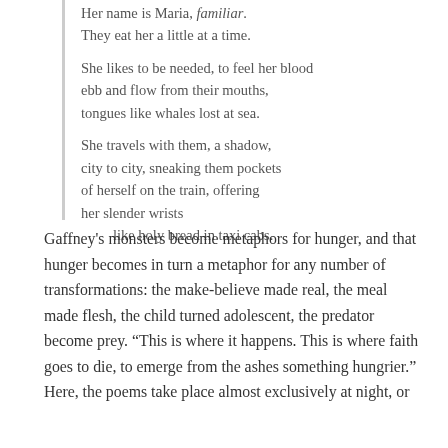Her name is Maria, familiar.
They eat her a little at a time.

She likes to be needed, to feel her blood
ebb and flow from their mouths,
tongues like whales lost at sea.

She travels with them, a shadow,
city to city, sneaking them pockets
of herself on the train, offering
her slender wrists
    like holy bread in taxi cabs.
Gaffney’s monsters become metaphors for hunger, and that hunger becomes in turn a metaphor for any number of transformations: the make-believe made real, the meal made flesh, the child turned adolescent, the predator become prey. “This is where it happens. This is where faith goes to die, to emerge from the ashes something hungrier.” Here, the poems take place almost exclusively at night, or